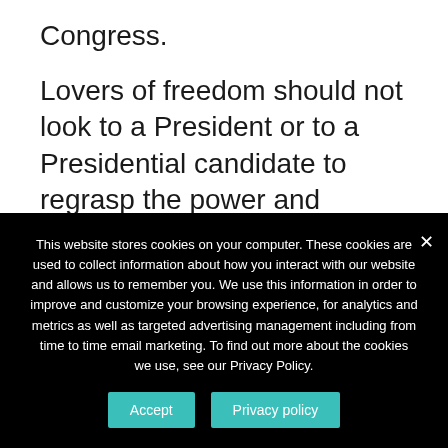Congress.
Lovers of freedom should not look to a President or to a Presidential candidate to regrasp the power and influence that have slipped out of Richard Nixon’s hands, but instead look to Congress to reassert itself as the preeminent branch of our Government. The Watergate scandal may be a blessing in
This website stores cookies on your computer. These cookies are used to collect information about how you interact with our website and allows us to remember you. We use this information in order to improve and customize your browsing experience, for analytics and metrics as well as targeted advertising management including from time to time email marketing. To find out more about the cookies we use, see our Privacy Policy.